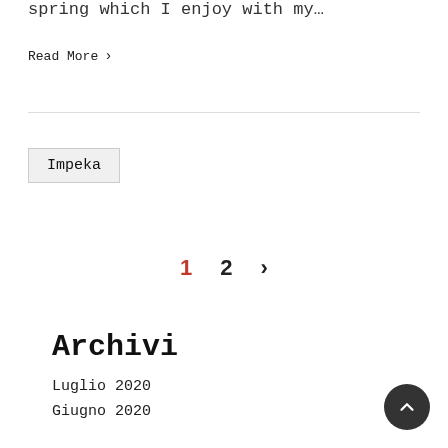spring which I enjoy with my…
Read More >
Impeka
1  2  >
Archivi
Luglio 2020
Giugno 2020